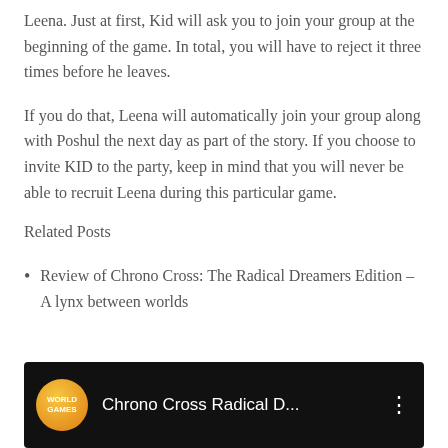Leena. Just at first, Kid will ask you to join your group at the beginning of the game. In total, you will have to reject it three times before he leaves.
If you do that, Leena will automatically join your group along with Poshul the next day as part of the story. If you choose to invite KID to the party, keep in mind that you will never be able to recruit Leena during this particular game.
Related Posts
Review of Chrono Cross: The Radical Dreamers Edition – A lynx between worlds
[Figure (screenshot): Video thumbnail with black background showing a World Games logo (orange circle with 'WORLD GAMES' text) and the title 'Chrono Cross Radical D...' with a three-dot menu icon on the right.]